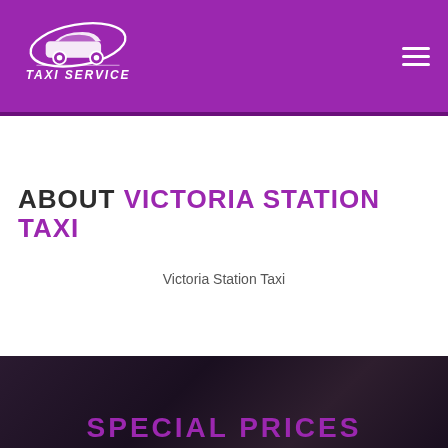[Figure (logo): Taxi Service logo: white car silhouette with swoosh lines and 'TAXI SERVICE' text in white, on purple background]
ABOUT VICTORIA STATION TAXI
Victoria Station Taxi
[Figure (photo): Dark blurred background photo of a car/taxi interior scene]
SPECIAL PRICES